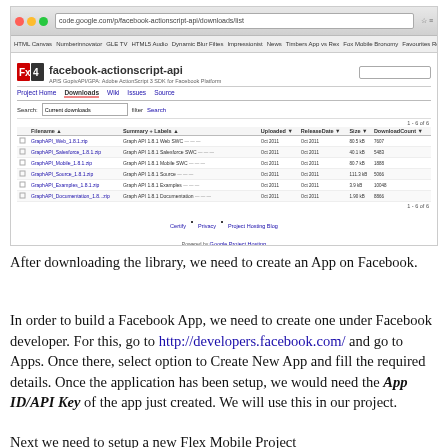[Figure (screenshot): Browser screenshot of the facebook-actionscript-api project downloads page on Google Code, showing a table of downloadable files including GraphAPI_Web, GraphAPI_Salesforce, GraphAPI_Mobile, GraphAPI_Source, GraphAPI_Examples, and GraphAPI_Documentation with columns for Filename, Summary+Labels, Uploaded, ReleaseDate, Size, DownloadCount.]
After downloading the library, we need to create an App on Facebook.
In order to build a Facebook App, we need to create one under Facebook developer. For this, go to http://developers.facebook.com/ and go to Apps. Once there, select option to Create New App and fill the required details. Once the application has been setup, we would need the App ID/API Key of the app just created. We will use this in our project.
Next we need to setup a new Flex Mobile Project